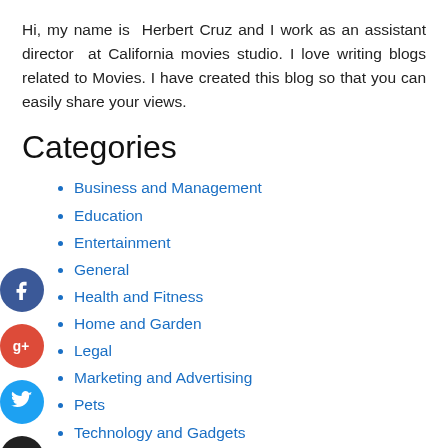Hi, my name is  Herbert Cruz and I work as an assistant director  at  California  movies  studio.  I  love  writing  blogs related to Movies. I have created this blog so that you can easily share your views.
Categories
Business and Management
Education
Entertainment
General
Health and Fitness
Home and Garden
Legal
Marketing and Advertising
Pets
Technology and Gadgets
Travel and Leisure
Recent Posts